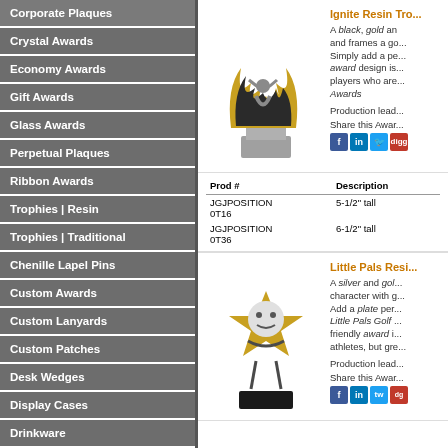Corporate Plaques
Crystal Awards
Economy Awards
Gift Awards
Glass Awards
Perpetual Plaques
Ribbon Awards
Trophies | Resin
Trophies | Traditional
Chenille Lapel Pins
Custom Awards
Custom Lanyards
Custom Patches
Desk Wedges
Display Cases
Drinkware
Gifts
Ignite Resin Tro...
A black, gold and frames a go... Simply add a pe... award design is... players who are... Awards
Production lead...
Share this Awar...
| Prod # | Description |
| --- | --- |
| JGJPOSITION 0T16 | 5-1/2" tall |
| JGJPOSITION 0T36 | 6-1/2" tall |
Little Pals Resi...
A silver and gol... character with g... Add a plate per... Little Pals Golf ... friendly award i... athletes, but gre...
Production lead...
Share this Awar...